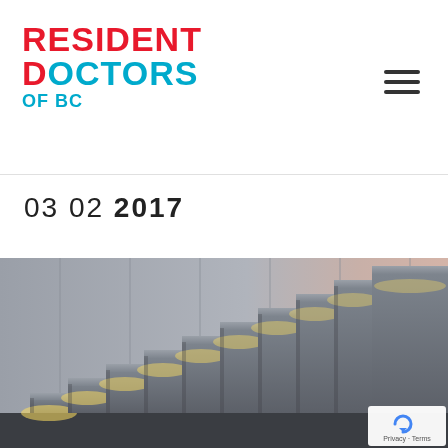[Figure (logo): Resident Doctors of BC logo with red and blue/cyan text]
03 02 2017
[Figure (photo): Floating concrete staircase with warm under-step lighting against a textured grey wall]